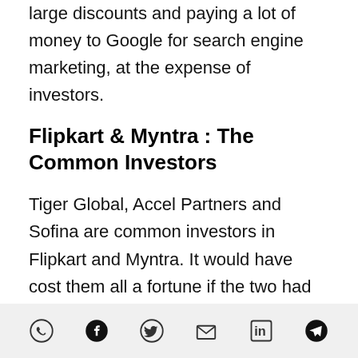large discounts and paying a lot of money to Google for search engine marketing, at the expense of investors.
Flipkart & Myntra : The Common Investors
Tiger Global, Accel Partners and Sofina are common investors in Flipkart and Myntra. It would have cost them all a fortune if the two had continued to battle it out while Amazon on one end and Snapdeal on the other (Snapdeal recently raised $133.7mn led by eBay)
[Figure (other): Social share icons row: WhatsApp, Facebook, Twitter, Email, LinkedIn, Telegram]